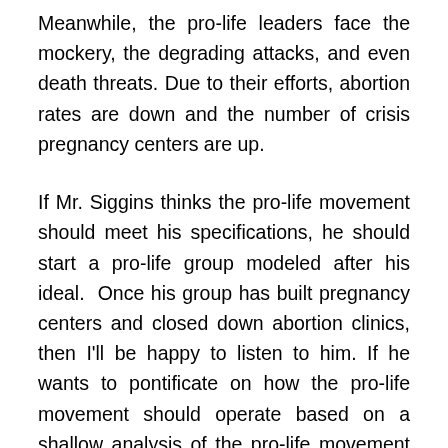Meanwhile, the pro-life leaders face the mockery, the degrading attacks, and even death threats. Due to their efforts, abortion rates are down and the number of crisis pregnancy centers are up.
If Mr. Siggins thinks the pro-life movement should meet his specifications, he should start a pro-life group modeled after his ideal. Once his group has built pregnancy centers and closed down abortion clinics, then I'll be happy to listen to him. If he wants to pontificate on how the pro-life movement should operate based on a shallow analysis of the pro-life movement as just another column, I could care less. The pro-life strategy will not be dictated from the bleachers. If Mr. Siggins and pundits like